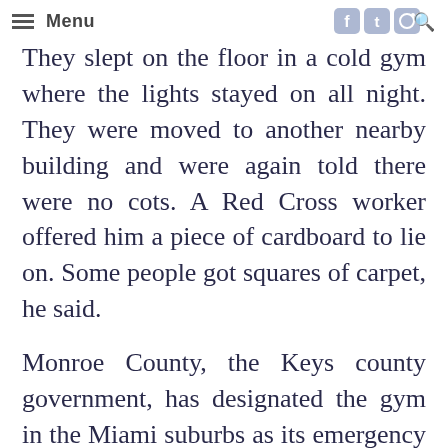Menu
They slept on the floor in a cold gym where the lights stayed on all night. They were moved to another nearby building and were again told there were no cots. A Red Cross worker offered him a piece of cardboard to lie on. Some people got squares of carpet, he said.

Monroe County, the Keys county government, has designated the gym in the Miami suburbs as its emergency shelter. Todd said he repeatedly asked where Monroe County emergency officials were and got no answers.